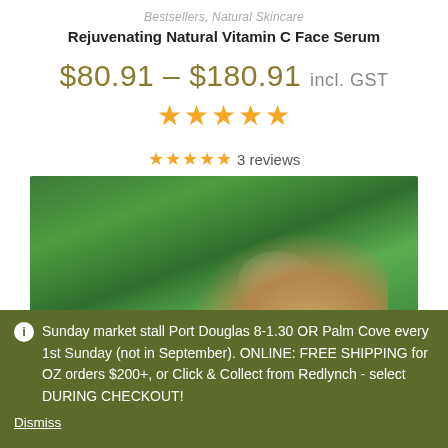Bestsellers, Natural Skincare
Rejuvenating Natural Vitamin C Face Serum
$80.91 – $180.91 incl. GST
★★★★★
★★★★★ 3 reviews
[Figure (photo): Close-up photo of a woman with long hair against a green bokeh background, with a white mist or dandelion seeds floating near her face.]
ℹ Sunday market stall Port Douglas 8-1.30 OR Palm Cove every 1st Sunday (not in September). ONLINE: FREE SHIPPING for OZ orders $200+, or Click & Collect from Redlynch - select DURING CHECKOUT!
Dismiss